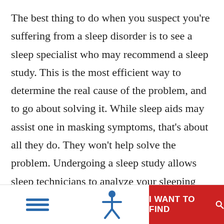The best thing to do when you suspect you're suffering from a sleep disorder is to see a sleep specialist who may recommend a sleep study. This is the most efficient way to determine the real cause of the problem, and to go about solving it. While sleep aids may assist one in masking symptoms, that's about all they do. They won't help solve the problem. Undergoing a sleep study allows sleep technicians to analyze your sleeping patterns, and to get to the real root of your problem(s). Don't get us wrong, there are times when sleep aids will do the trick. But if you're suffering from a sleep disorder,
I WANT TO FIND